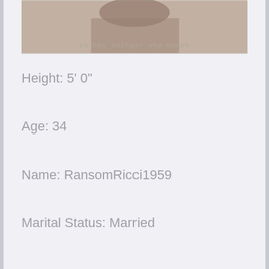[Figure (photo): Partial photo of a person with watermark text 'chubby swinger why women']
Height: 5' 0"
Age: 34
Name: RansomRicci1959
Marital Status: Married